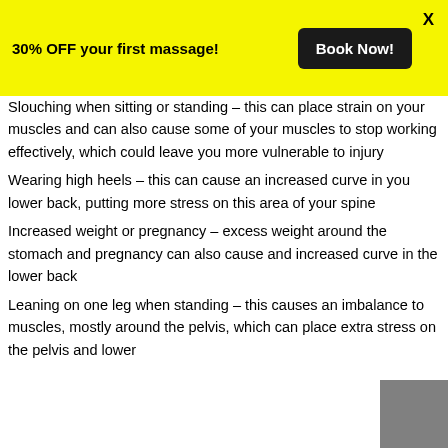30% OFF your first massage! Book Now! X
Slouching when sitting or standing – this can place strain on your muscles and can also cause some of your muscles to stop working effectively, which could leave you more vulnerable to injury
Wearing high heels – this can cause an increased curve in you lower back, putting more stress on this area of your spine
Increased weight or pregnancy – excess weight around the stomach and pregnancy can also cause and increased curve in the lower back
Leaning on one leg when standing – this causes an imbalance to muscles, mostly around the pelvis, which can place extra stress on the pelvis and lower